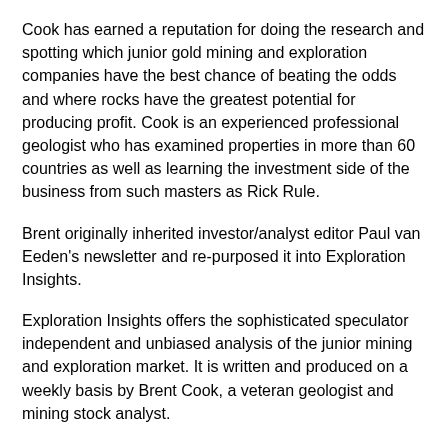Cook has earned a reputation for doing the research and spotting which junior gold mining and exploration companies have the best chance of beating the odds and where rocks have the greatest potential for producing profit. Cook is an experienced professional geologist who has examined properties in more than 60 countries as well as learning the investment side of the business from such masters as Rick Rule.
Brent originally inherited investor/analyst editor Paul van Eeden's newsletter and re-purposed it into Exploration Insights.
Exploration Insights offers the sophisticated speculator independent and unbiased analysis of the junior mining and exploration market. It is written and produced on a weekly basis by Brent Cook, a veteran geologist and mining stock analyst.
Brent Cook is often on the road. Some of that time away is spent speaking at resource and investment conferences